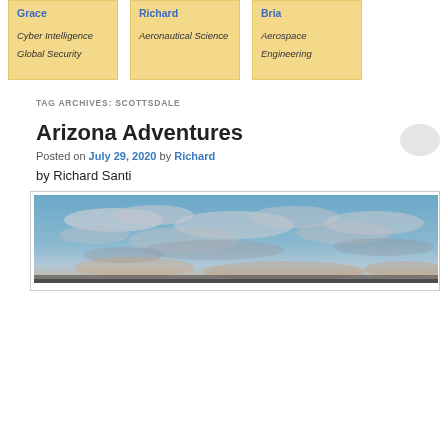[Figure (infographic): Three profile cards on yellow/gold background: Grace (Cyber Intelligence Global Security), Richard (Aeronautical Science), Bria (Aerospace Engineering)]
TAG ARCHIVES: SCOTTSDALE
Arizona Adventures
Posted on July 29, 2020 by Richard
by Richard Santi
[Figure (photo): Sky with blue sky and scattered clouds, some pink/orange tones near horizon, twilight or dawn sky photo]